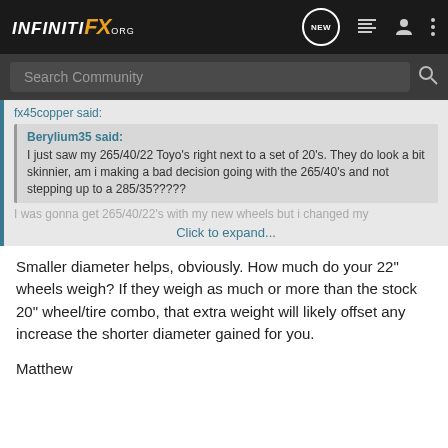INFINITI FX.ORG — Navigation bar with search
fx45copper said:
Berylium35 said:
I just saw my 265/40/22 Toyo's right next to a set of 20's. They do look a bit skinnier, am i making a bad decision going with the 265/40's and not stepping up to a 285/35?????
I was gonna get 265/40/22's with my new wheels but i changed my
Click to expand...
Smaller diameter helps, obviously. How much do your 22" wheels weigh? If they weigh as much or more than the stock 20" wheel/tire combo, that extra weight will likely offset any increase the shorter diameter gained for you.
Matthew